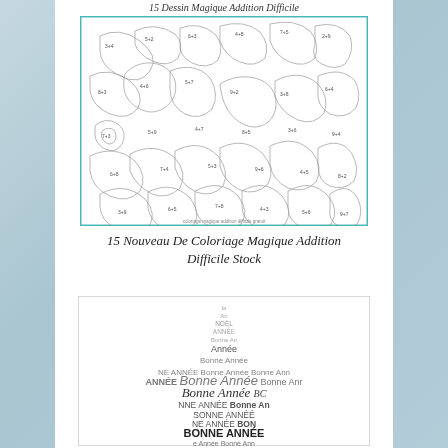15 Dessin Magique Addition Difficile
[Figure (illustration): A complex color-by-number addition puzzle illustration with many swirling doodle shapes, animals, and decorative elements, all filled with small addition equations. The image has a teal/green border.]
15 Nouveau De Coloriage Magique Addition Difficile Stock
[Figure (illustration): A star-shaped word art composition made up of repeated text 'Bonne Année' in various font sizes and styles, forming the silhouette of a five-pointed star. The text ranges from small light gray to large bold black lettering.]